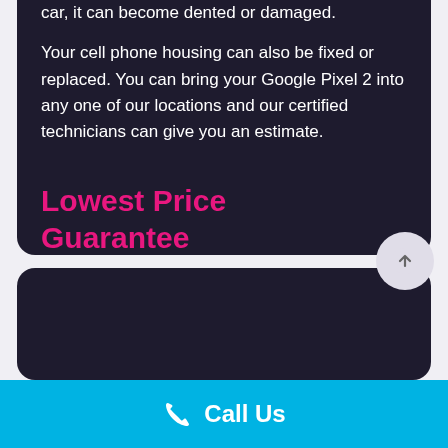car, it can become dented or damaged.
Your cell phone housing can also be fixed or replaced. You can bring your Google Pixel 2 into any one of our locations and our certified technicians can give you an estimate.
Lowest Price Guarantee
[Figure (other): Dark card bottom section, partially visible]
Call Us